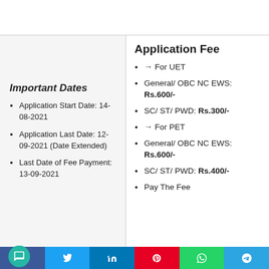Important Dates
Application Start Date: 14-08-2021
Application Last Date: 12-09-2021 (Date Extended)
Last Date of Fee Payment: 13-09-2021
Application Fee
→ For UET
General/ OBC NC EWS: Rs.600/-
SC/ ST/ PWD: Rs.300/-
→ For PET
General/ OBC NC EWS: Rs.600/-
SC/ ST/ PWD: Rs.400/-
Pay The Fee